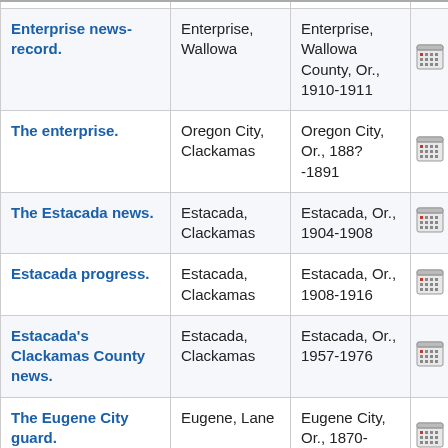| Title | Place | Coverage |  |
| --- | --- | --- | --- |
| Enterprise news-record. | Enterprise, Wallowa | Enterprise, Wallowa County, Or., 1910-1911 | [icon] |
| The enterprise. | Oregon City, Clackamas | Oregon City, Or., 188?-1891 | [icon] |
| The Estacada news. | Estacada, Clackamas | Estacada, Or., 1904-1908 | [icon] |
| Estacada progress. | Estacada, Clackamas | Estacada, Or., 1908-1916 | [icon] |
| Estacada's Clackamas County news. | Estacada, Clackamas | Estacada, Or., 1957-1976 | [icon] |
| The Eugene City guard. | Eugene, Lane | Eugene City, Or., 1870-1899 | [icon] |